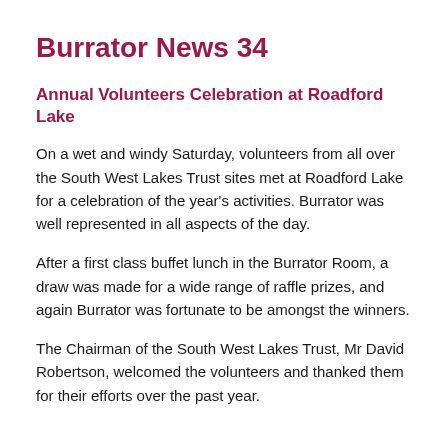Burrator News 34
Annual Volunteers Celebration at Roadford Lake
On a wet and windy Saturday, volunteers from all over the South West Lakes Trust sites met at Roadford Lake for a celebration of the year's activities. Burrator was well represented in all aspects of the day.
After a first class buffet lunch in the Burrator Room, a draw was made for a wide range of raffle prizes, and again Burrator was fortunate to be amongst the winners.
The Chairman of the South West Lakes Trust, Mr David Robertson, welcomed the volunteers and thanked them for their efforts over the past year.